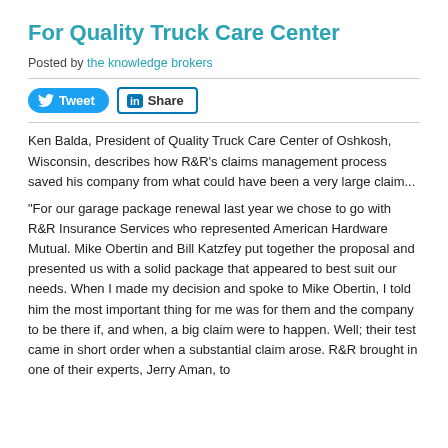For Quality Truck Care Center
Posted by the knowledge brokers
[Figure (infographic): Social media sharing buttons: Tweet (Twitter) and Share (LinkedIn)]
Ken Balda, President of Quality Truck Care Center of Oshkosh, Wisconsin, describes how R&R's claims management process saved his company from what could have been a very large claim...
"For our garage package renewal last year we chose to go with R&R Insurance Services who represented American Hardware Mutual. Mike Obertin and Bill Katzfey put together the proposal and presented us with a solid package that appeared to best suit our needs. When I made my decision and spoke to Mike Obertin, I told him the most important thing for me was for them and the company to be there if, and when, a big claim were to happen. Well; their test came in short order when a substantial claim arose. R&R brought in one of their experts, Jerry Aman, to